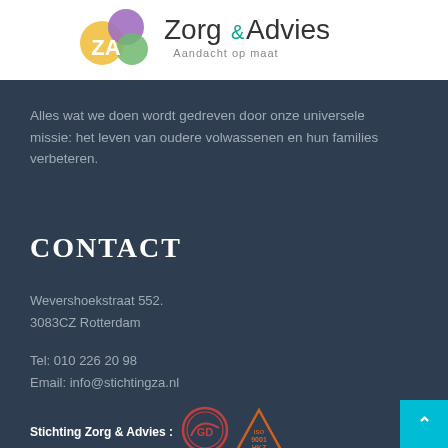[Figure (logo): ZA Zorg&Advies logo with colorful circles and tagline 'Aandacht op maat' on white background]
Alles wat we doen wordt gedreven door onze universele missie: het leven van oudere volwassenen en hun families verbeteren.
CONTACT
Wevershoekstraat 552.
3083CZ Rotterdam
Tel: 010 226 20 98
Email: info@stichtingza.nl
Stichting Zorg & Advies :
[Figure (logo): GD certification seal (red circular stamp)]
[Figure (logo): HKZ ISO 9001 certification triangle badge (orange/red)]
[Figure (other): Cyan scroll-to-top button with upward arrow]